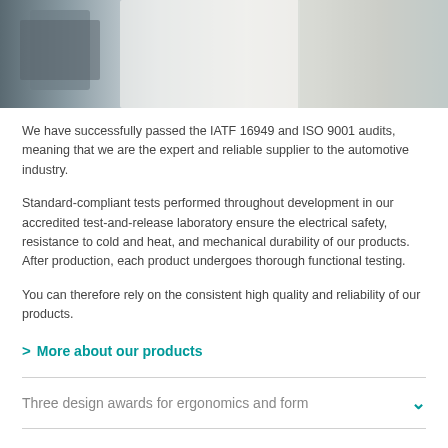[Figure (photo): Laboratory photo showing a person in a white lab coat with scientific testing equipment and instruments in the background.]
We have successfully passed the IATF 16949 and ISO 9001 audits, meaning that we are the expert and reliable supplier to the automotive industry.
Standard-compliant tests performed throughout development in our accredited test-and-release laboratory ensure the electrical safety, resistance to cold and heat, and mechanical durability of our products. After production, each product undergoes thorough functional testing.
You can therefore rely on the consistent high quality and reliability of our products.
> More about our products
Three design awards for ergonomics and form